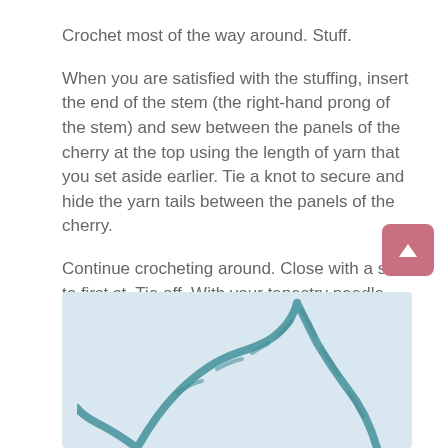Crochet most of the way around. Stuff.
When you are satisfied with the stuffing, insert the end of the stem (the right-hand prong of the stem) and sew between the panels of the cherry at the top using the length of yarn that you set aside earlier. Tie a knot to secure and hide the yarn tails between the panels of the cherry.
Continue crocheting around. Close with a slst to first st. Tie off. With your tapestry needle, poke the yarn tail back inside the piece.
[Figure (photo): A teal/blue crochet stem piece on a light blue background, showing the crochet work in progress.]